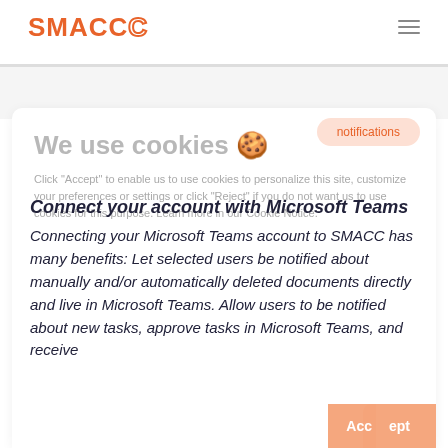[Figure (logo): SMACC logo in orange with stylized C outline]
We use cookies 🍪
Click "Accept" to enable us to use cookies to personalize this site, customize your preferences or settings or click "Reject" if you do not want us to use cookies for this purpose. Learn more in our Cookie Notice.
Connect your account with Microsoft Teams
Connecting your Microsoft Teams account to SMACC has many benefits: Let selected users be notified about manually and/or automatically deleted documents directly and live in Microsoft Teams. Allow users to be notified about new tasks, approve tasks in Microsoft Teams, and receive